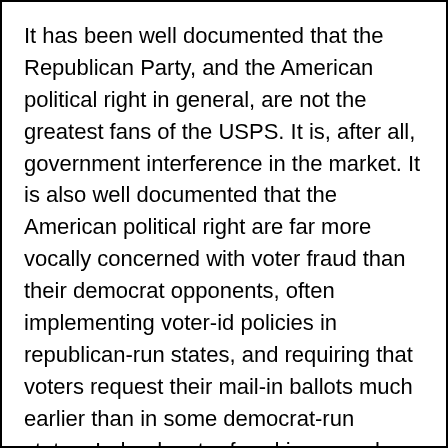It has been well documented that the Republican Party, and the American political right in general, are not the greatest fans of the USPS. It is, after all, government interference in the market. It is also well documented that the American political right are far more vocally concerned with voter fraud than their democrat opponents, often implementing voter-id policies in republican-run states, and requiring that voters request their mail-in ballots much earlier than in some democrat-run states. Indeed, voter fraud is a popular topic for many Fox News hosts. So when President Trump, asked questions regarding the public concerns over the USPS' recent failings to deliver mail and the potential implications for the postal vote...